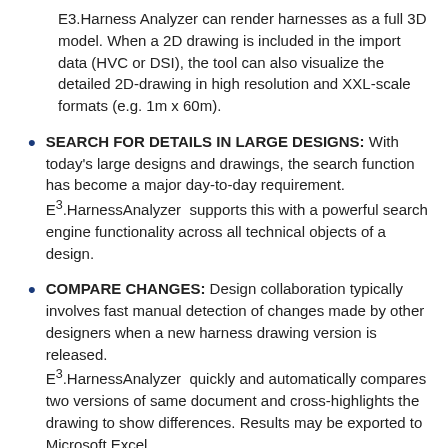E3.Harness Analyzer can render harnesses as a full 3D model. When a 2D drawing is included in the import data (HVC or DSI), the tool can also visualize the detailed 2D-drawing in high resolution and XXL-scale formats (e.g. 1m x 60m).
SEARCH FOR DETAILS IN LARGE DESIGNS: With today's large designs and drawings, the search function has become a major day-to-day requirement. E3.HarnessAnalyzer supports this with a powerful search engine functionality across all technical objects of a design.
COMPARE CHANGES: Design collaboration typically involves fast manual detection of changes made by other designers when a new harness drawing version is released. E3.HarnessAnalyzer quickly and automatically compares two versions of same document and cross-highlights the drawing to show differences. Results may be exported to Microsoft Excel.